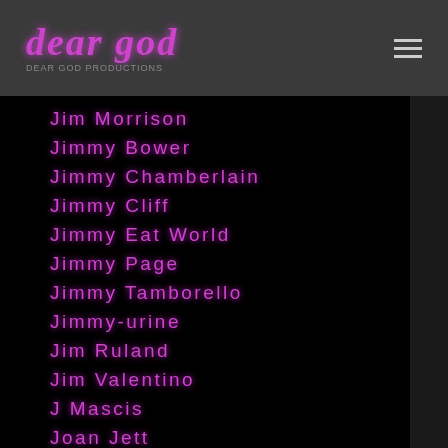dear god
Jim Morrison
Jimmy Bower
Jimmy Chamberlain
Jimmy Cliff
Jimmy Eat World
Jimmy Page
Jimmy Tamborello
Jimmy-urine
Jim Ruland
Jim Valentino
J Mascis
Joan Jett
Joan-rivers
Joao-gilberto
Job For A Cowboy
Joe-barresi
Joe Berlinger